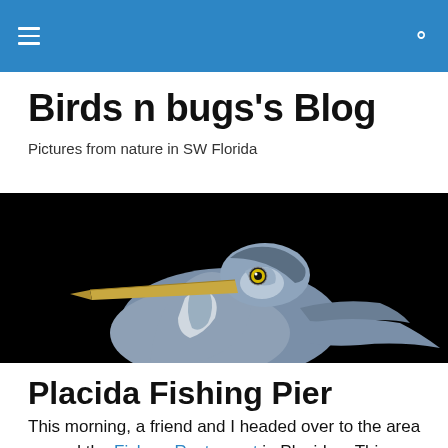≡   🔍
Birds n bugs's Blog
Pictures from nature in SW Florida
[Figure (photo): Close-up photograph of a Great Blue Heron's head and long beak against a black background, showing detailed blue-grey feathers and yellow eye]
Placida Fishing Pier
This morning, a friend and I headed over to the area around the Fishery Restaurant in Placida.   This area has the restaurant and a number of fishing guides and art studios if you would like to visit.  Our purpose though was